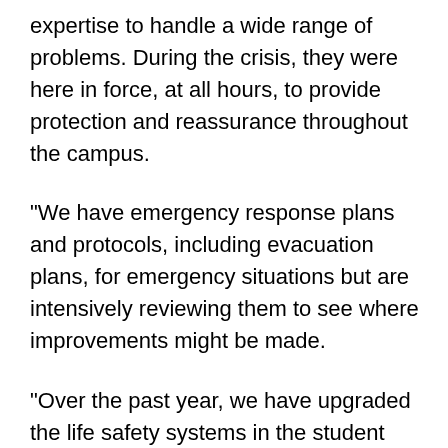expertise to handle a wide range of problems. During the crisis, they were here in force, at all hours, to provide protection and reassurance throughout the campus.
"We have emergency response plans and protocols, including evacuation plans, for emergency situations but are intensively reviewing them to see where improvements might be made.
"Over the past year, we have upgraded the life safety systems in the student residences, and the fire alarms on campus are tied in directly to the Cambridge Fire Department and to the Campus Police.